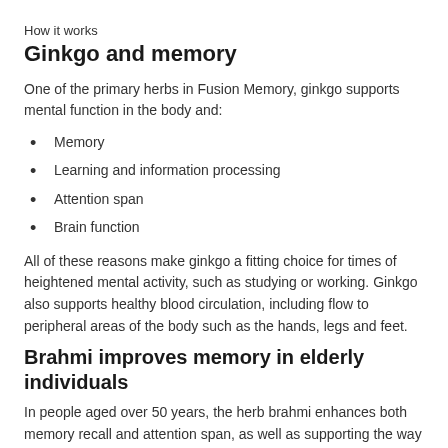How it works
Ginkgo and memory
One of the primary herbs in Fusion Memory, ginkgo supports mental function in the body and:
Memory
Learning and information processing
Attention span
Brain function
All of these reasons make ginkgo a fitting choice for times of heightened mental activity, such as studying or working. Ginkgo also supports healthy blood circulation, including flow to peripheral areas of the body such as the hands, legs and feet.
Brahmi improves memory in elderly individuals
In people aged over 50 years, the herb brahmi enhances both memory recall and attention span, as well as supporting the way